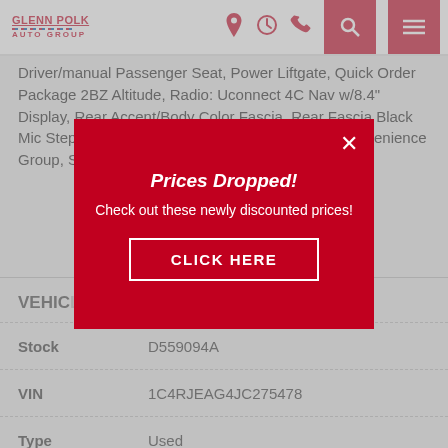GLENN POLK AUTO GROUP
Driver/manual Passenger Seat, Power Liftgate, Quick Order Package 2BZ Altitude, Radio: Uconnect 4C Nav w/8.4" Display, Rear Accent/Body Color Fascia, Rear Fascia Black Mic Step Pad, Remote Start System, Security & Convenience Group, Security Satellite Radio,
VEHICLE
| Field | Value |
| --- | --- |
| Stock | D559094A |
| VIN | 1C4RJEAG4JC275478 |
| Type | Used |
| Year | 2018 |
[Figure (screenshot): Red modal popup overlay with 'Prices Dropped!' heading, 'Check out these newly discounted prices!' subtext, and a 'CLICK HERE' button with white border on red background.]